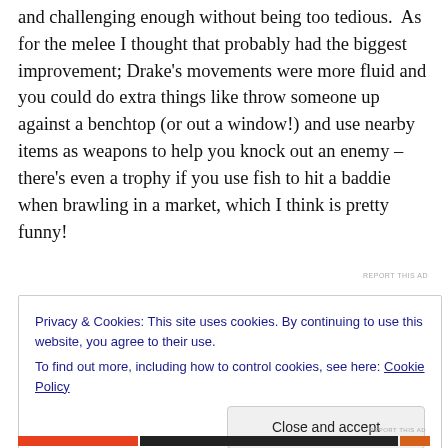and challenging enough without being too tedious.  As for the melee I thought that probably had the biggest improvement; Drake's movements were more fluid and you could do extra things like throw someone up against a benchtop (or out a window!) and use nearby items as weapons to help you knock out an enemy – there's even a trophy if you use fish to hit a baddie when brawling in a market, which I think is pretty funny!
REPORT THIS AD
Privacy & Cookies: This site uses cookies. By continuing to use this website, you agree to their use.
To find out more, including how to control cookies, see here: Cookie Policy
Close and accept